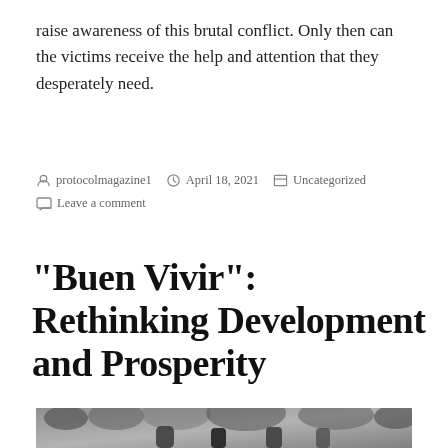raise awareness of this brutal conflict. Only then can the victims receive the help and attention that they desperately need.
protocolmagazine1   April 18, 2021   Uncategorized
Leave a comment
“Buen Vivir”: Rethinking Development and Prosperity
[Figure (photo): Black and white photograph showing people outdoors with foliage in background]